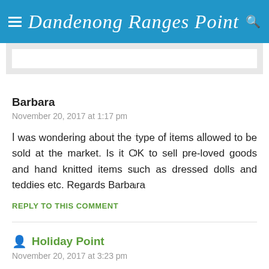Dandenong Ranges Point
Barbara
November 20, 2017 at 1:17 pm
I was wondering about the type of items allowed to be sold at the market. Is it OK to sell pre-loved goods and hand knitted items such as dressed dolls and teddies etc. Regards Barbara
REPLY TO THIS COMMENT
Holiday Point
November 20, 2017 at 3:23 pm